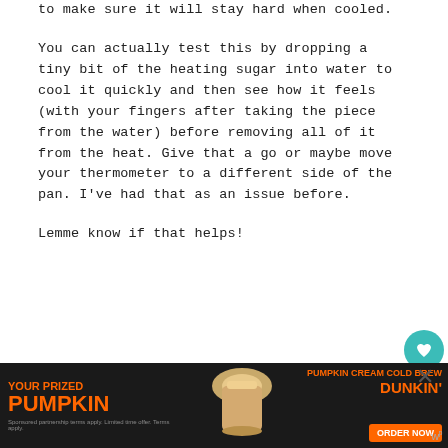to make sure it will stay hard when cooled.
You can actually test this by dropping a tiny bit of the heating sugar into water to cool it quickly and then see how it feels (with your fingers after taking the piece from the water) before removing all of it from the heat. Give that a go or maybe move your thermometer to a different side of the pan. I’ve had that as an issue before.
Lemme know if that helps!
[Figure (other): Advertisement banner for Dunkin' Pumpkin Cream Cold Brew with orange text on dark background reading 'YOUR PRIZED PUMPKIN' and 'DUNKIN' ORDER NOW']